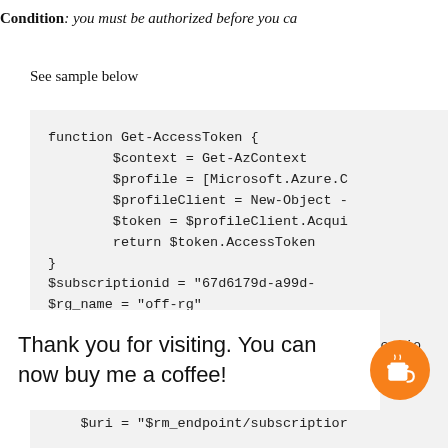Condition: you must be authorized before you ca
See sample below
function Get-AccessToken {
    $context = Get-AzContext
    $profile = [Microsoft.Azure.C
    $profileClient = New-Object -
    $token = $profileClient.Acqui
    return $token.AccessToken
}
$subscriptionid = "67d6179d-a99d-
$rg_name = "off-rg"
$rm_endpoint = "https://managemer
Thank you for visiting. You can now buy me a coffee!
'applicatio
'B' +
$uri = "$rm_endpoint/subscription